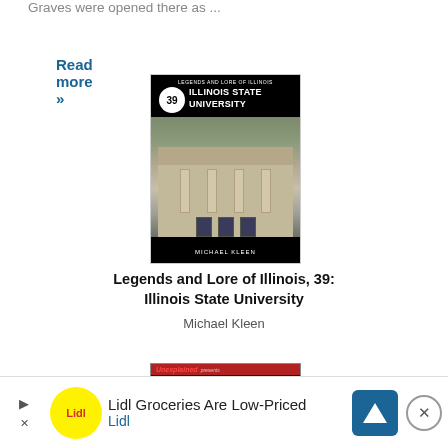Graves were opened there as ...
Read more »
[Figure (photo): Book cover for 'Legends and Lore of Illinois, 39: Illinois State University' by Michael Kleen. Black cover with a photo of a classic stone university building with columns. Number 39 in a white circle badge. Author name at bottom.]
Legends and Lore of Illinois, 39: Illinois State University
Michael Kleen
[Figure (photo): Book cover for 'The Illinois Road Guide to Haunted...' — dark cover with orange 'ILLINOIS' text and teal 'HAUNTED' text. Published by Unexplained Presents.]
[Figure (other): Advertisement banner: Lidl Groceries Are Low-Priced. Shows Lidl logo (red text on yellow circle), navigation/map icon, and close button.]